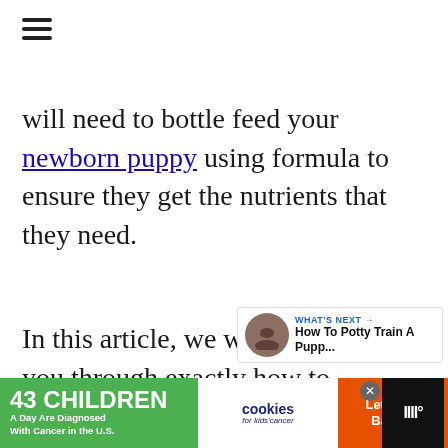will need to bottle feed your newborn puppy using formula to ensure they get the nutrients that they need.
In this article, we will take you through exactly how to safely and effectively bottlefeed newborn pups. We'll also share our recommendations for the best nursing formulas to feed your
[Figure (screenshot): Advertisement banner: '43 CHILDREN A Day Are Diagnosed With Cancer in the U.S.' cookies for kids' cancer - Let's Get Baking]
[Figure (infographic): Sidebar with heart/like button showing 4 likes and a share button]